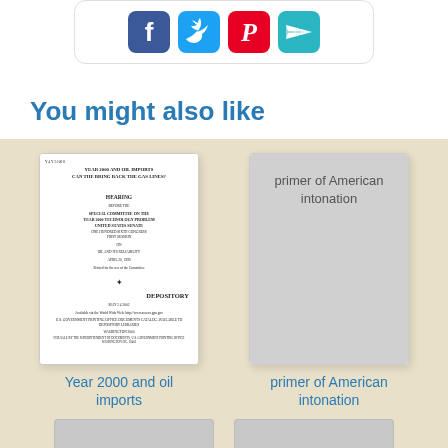[Figure (illustration): Social share buttons: Facebook (blue), Twitter (teal), Pinterest (red), and a mail/send icon (teal), arranged in a rounded white box.]
You might also like
[Figure (photo): Thumbnail of a government document titled 'Year 2000 and Oil Imports: Can the Bring Back the Gas Lines?' - a Senate hearing document with HEARING text and DEPOSITORY stamp.]
Year 2000 and oil imports
[Figure (other): Gray placeholder book cover for 'primer of American intonation']
primer of American intonation
[Figure (other): Partial gray placeholder card at bottom left]
[Figure (other): Partial gray placeholder card at bottom right]